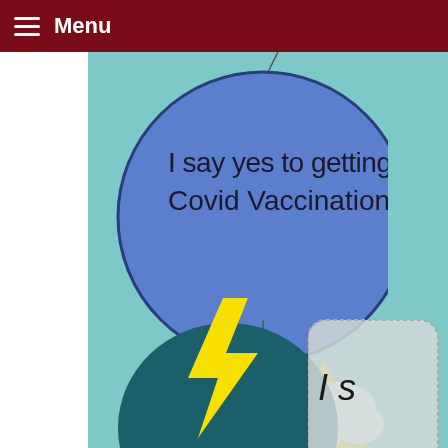Menu
[Figure (illustration): Blue circle speech bubble with text 'I say yes to getting the Covid Vaccination!']
[Figure (illustration): Yellow sun shape with white clouds overlay, text 'SAY YES TO HELPING THE ENVIRONMENT']
[Figure (illustration): Partial grey rounded rectangle on right side with partial text 'I s... spr... sho...']
[Figure (illustration): Partial dark teal circle at bottom with yellow lightning bolt]